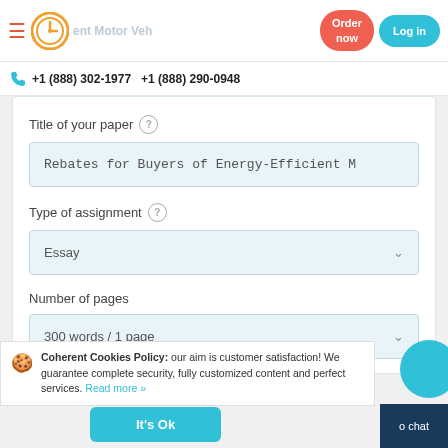Rebates for Buyers of Energy-Efficient Motor Vehicles online — Order now | Log in | +1 (888) 302-1977  +1 (888) 290-0948
Title of your paper
Rebates for Buyers of Energy-Efficient M
Type of assignment
Essay
Number of pages
300 words / 1 page
Coherent Cookies Policy: our aim is customer satisfaction! We guarantee complete security, fully customized content and perfect services. Read more »
It's Ok